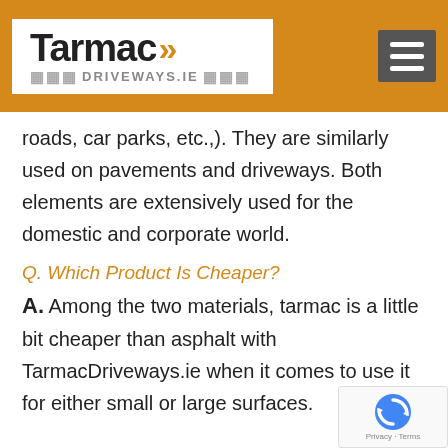Tarmac >> DRIVEWAYS.IE
roads, car parks, etc.,). They are similarly used on pavements and driveways. Both elements are extensively used for the domestic and corporate world.
Q. Which Product Is Cheaper?
A. Among the two materials, tarmac is a little bit cheaper than asphalt with TarmacDriveways.ie when it comes to use it for either small or large surfaces.